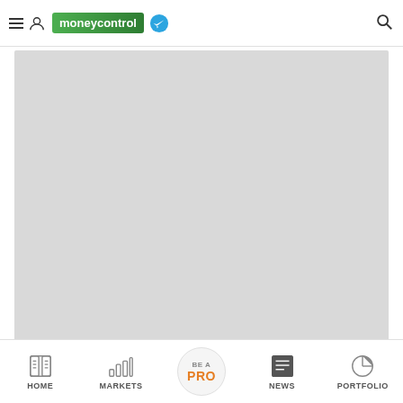moneycontrol navigation bar with hamburger menu, user icon, moneycontrol logo, telegram icon, and search icon
[Figure (other): Large gray placeholder/advertisement block]
[Figure (other): Green progress/indicator bar below the gray block]
GMR Infra
HOME | MARKETS | BE A PRO | NEWS | PORTFOLIO